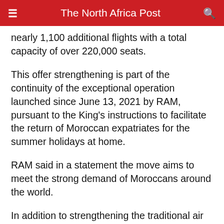The North Africa Post
nearly 1,100 additional flights with a total capacity of over 220,000 seats.
This offer strengthening is part of the continuity of the exceptional operation launched since June 13, 2021 by RAM, pursuant to the King's instructions to facilitate the return of Moroccan expatriates for the summer holidays at home.
RAM said in a statement the move aims to meet the strong demand of Moroccans around the world.
In addition to strengthening the traditional air routes linking Casablanca and other major Moroccan airports to Europe, RAM will launch 11 new direct routes linking Moroccan cities to major European cities, which have a